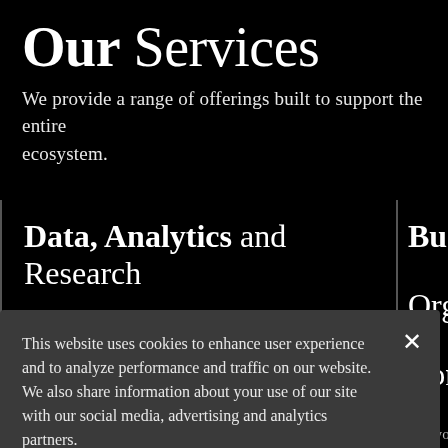Our Services
We provide a range of offerings built to support the entire ecosystem.
Data, Analytics and Research
Business Organization Consulting
This website uses cookies to enhance user experience and to analyze performance and traffic on our website. We also share information about your use of our site with our social media, advertising and analytics partners.
Customize Settings